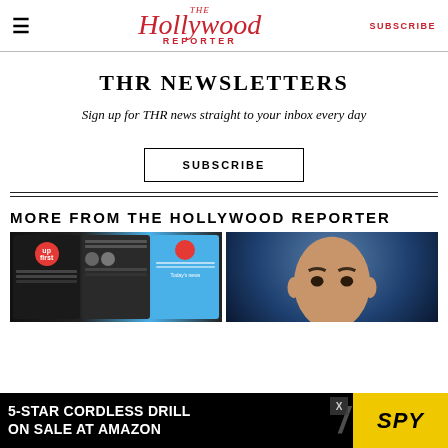The Hollywood Reporter — SUBSCRIBE
THR NEWSLETTERS
Sign up for THR news straight to your inbox every day
SUBSCRIBE
MORE FROM THE HOLLYWOOD REPORTER
[Figure (screenshot): Screenshots of news app showing Up First podcast and news feed]
[Figure (photo): Man in dark suit with pink shirt against blue background]
[Figure (advertisement): 5-Star Cordless Drill On Sale at Amazon — SPY ad banner]